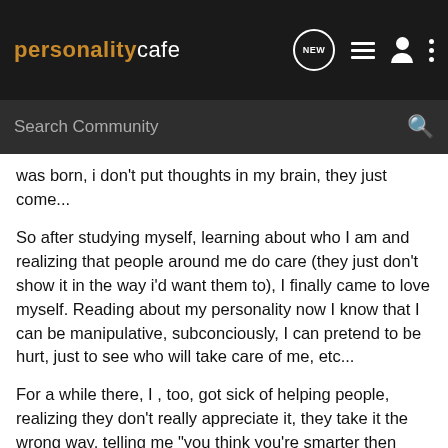personality cafe — NEW, list, user, more icons — Search Community
was born, i don't put thoughts in my brain, they just come...
So after studying myself, learning about who I am and realizing that people around me do care (they just don't show it in the way i'd want them to), I finally came to love myself. Reading about my personality now I know that I can be manipulative, subconciously, I can pretend to be hurt, just to see who will take care of me, etc...
For a while there, I , too, got sick of helping people, realizing they don't really appreciate it, they take it the wrong way, telling me "you think you're smarter then me?" or..."oh, really, did you look at your own life before giving me advice?"...yes, it's easier for me to give advice then to actually take it, but that's how most people are. It's easier to see something on the outside ,